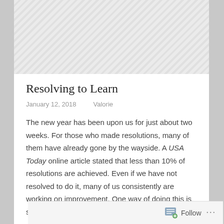[Figure (photo): Gray hatched placeholder image at top of article card]
Resolving to Learn
January 12, 2018    Valorie
The new year has been upon us for just about two weeks. For those who made resolutions, many of them have already gone by the wayside. A USA Today online article stated that less than 10% of resolutions are achieved. Even if we have not resolved to do it, many of us consistently are working on improvement. One way of doing this is spending time in the “Learning Zone.”
Follow ...